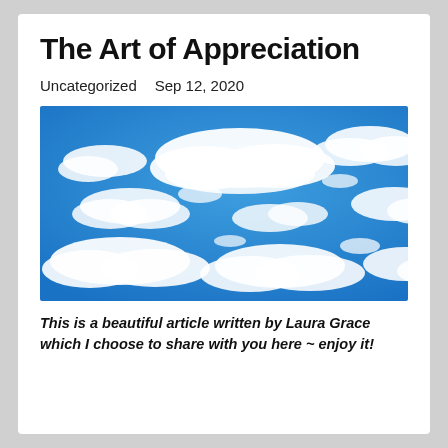The Art of Appreciation
Uncategorized    Sep 12, 2020
[Figure (photo): A bright blue sky filled with numerous white fluffy cumulus clouds scattered across the frame.]
This is a beautiful article written by Laura Grace which I choose to share with you here ~ enjoy it!